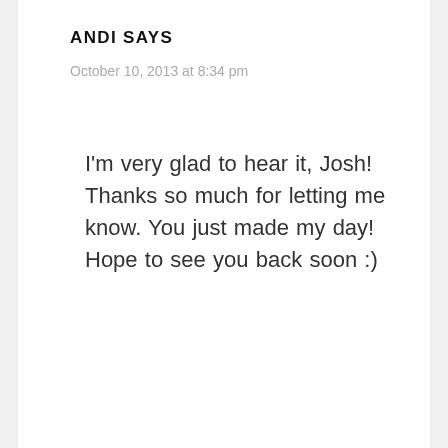ANDI SAYS
October 10, 2013 at 8:34 pm
I'm very glad to hear it, Josh! Thanks so much for letting me know. You just made my day! Hope to see you back soon :)
Reply
LORI ABSHER SAYS